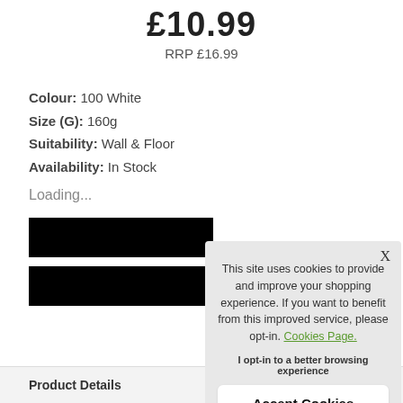£10.99
RRP £16.99
Colour: 100 White
Size (G): 160g
Suitability: Wall & Floor
Availability: In Stock
Loading...
[Figure (other): Two redacted black rectangles (buttons or form fields) and a grey circle (colour swatch)]
This site uses cookies to provide and improve your shopping experience. If you want to benefit from this improved service, please opt-in. Cookies Page.

I opt-in to a better browsing experience

Accept Cookies
Product Details